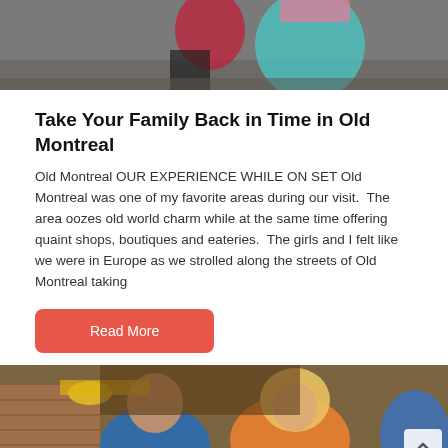[Figure (photo): Two people posing on cobblestone street in Old Montreal, one wearing a teal dress]
Take Your Family Back in Time in Old Montreal
Old Montreal OUR EXPERIENCE WHILE ON SET Old Montreal was one of my favorite areas during our visit.  The area oozes old world charm while at the same time offering quaint shops, boutiques and eateries.  The girls and I felt like we were in Europe as we strolled along the streets of Old Montreal taking
Read More
[Figure (photo): A man and woman smiling inside what appears to be a restaurant, with people in yellow hats in the background]